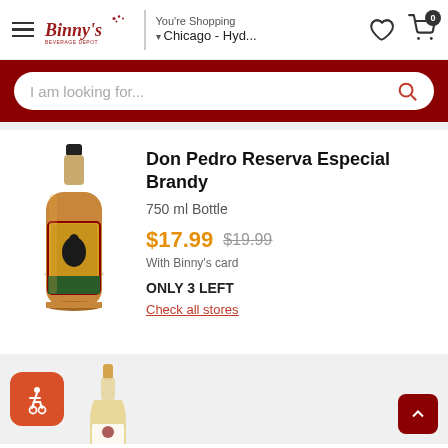Binny's Beverage Depot – You're Shopping – Chicago - Hyd...
I am looking for...
[Figure (photo): Product photo of Don Pedro Reserva Especial Brandy 750ml bottle with a yellow label featuring a pear silhouette]
Don Pedro Reserva Especial Brandy
750 ml Bottle
$17.99  $19.99  With Binny's card
ONLY 3 LEFT
Check all stores
[Figure (photo): Partial view of a second product bottle (wine/spirits) with a cork top and label, cut off at the bottom of the page]
[Figure (other): Accessibility icon button – orange rounded square with wheelchair user icon]
Back to top button